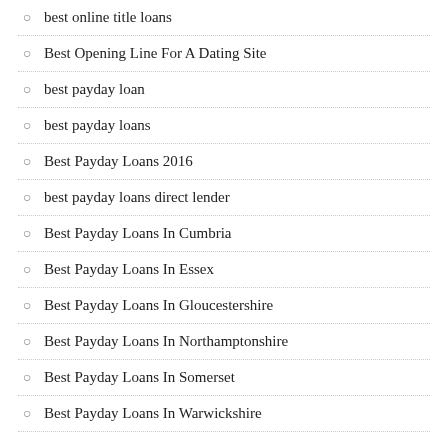best online title loans
Best Opening Line For A Dating Site
best payday loan
best payday loans
Best Payday Loans 2016
best payday loans direct lender
Best Payday Loans In Cumbria
Best Payday Loans In Essex
Best Payday Loans In Gloucestershire
Best Payday Loans In Northamptonshire
Best Payday Loans In Somerset
Best Payday Loans In Warwickshire